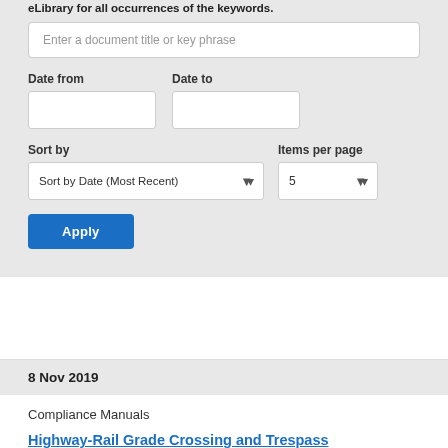eLibrary for all occurrences of the keywords.
Enter a document title or key phrase
Date from
Date to
Sort by
Items per page
Sort by Date (Most Recent)
5
Apply
8 Nov 2019
Compliance Manuals
Highway-Rail Grade Crossing and Trespass